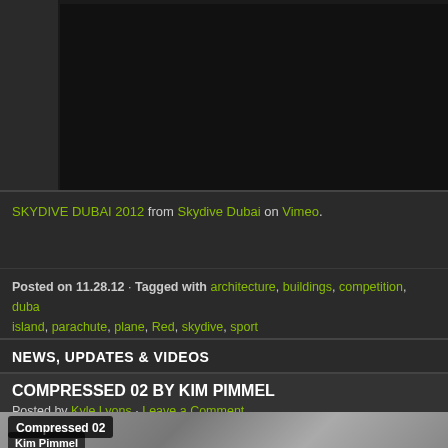[Figure (screenshot): Dark video embed area (Vimeo video player)]
SKYDIVE DUBAI 2012 from Skydive Dubai on Vimeo.
Posted on 11.28.12 · Tagged with architecture, buildings, competition, dubai, island, parachute, plane, Red, skydive, sport
NEWS, UPDATES & VIDEOS
COMPRESSED 02 BY KIM PIMMEL
Posted by Kyle Lyons · Leave a Comment
[Figure (screenshot): Video thumbnail for Compressed 02 by Kim Pimmel showing cracked texture background with title overlay]